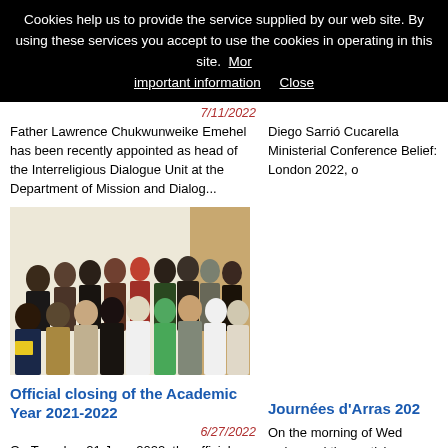Cookies help us to provide the service supplied by our web site. By using these services you accept to use the cookies in operating in this site. More important information Close
Father Lawrence Chukwunweike Emehel has been recently appointed as head of the Interreligious Dialogue Unit at the Department of Mission and Dialog...
Diego Sarrió Cucarella Ministerial Conference Belief: London 2022, o
[Figure (photo): Group photo of approximately 25 people standing together indoors in front of a light-colored wall]
Official closing of the Academic Year 2021-2022
Journées d'Arras 202
6/27/2022
On Tuesday, 21 June 2022, the official closing of the 2021-2022 Academic Year was celebrated. After the Eucharist, Prof. Cottini recalled the steps...
On the morning of Wed welcomed the particip gathering in Rome con